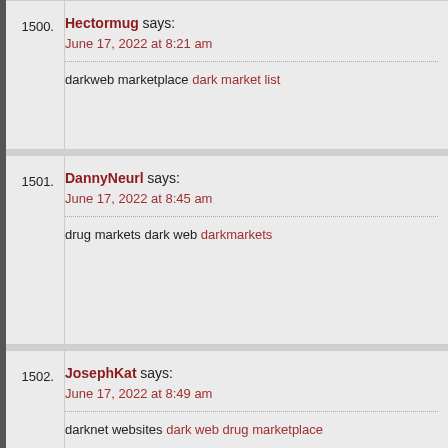1500. Hectormug says: June 17, 2022 at 8:21 am
darkweb marketplace dark market list
1501. DannyNeurl says: June 17, 2022 at 8:45 am
drug markets dark web darkmarkets
1502. JosephKat says: June 17, 2022 at 8:49 am
darknet websites dark web drug marketplace